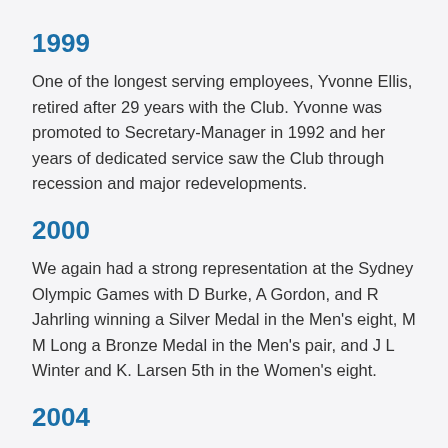1999
One of the longest serving employees, Yvonne Ellis, retired after 29 years with the Club.  Yvonne was promoted to Secretary-Manager in 1992 and her years of dedicated service saw the Club through recession and major redevelopments.
2000
We again had a strong representation at the Sydney Olympic Games with D Burke, A Gordon, and R Jahrling winning a Silver Medal in the Men's eight,  M M Long a Bronze Medal in the Men's pair, and  J L Winter and K. Larsen 5th in the Women's eight.
2004
Three of our rowers were selected to represent Australia at the Athens Olympic Games, K Foulkes, R Jahrling & J